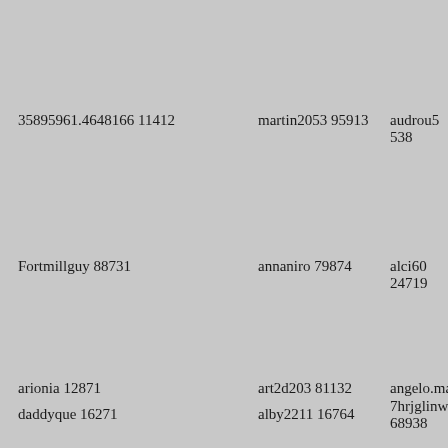35895961.4648166 11412
martin2053 95913
audrou5 538
Fortmillguy 88731
annaniro 79874
alci60 24719
arionia 12871
art2d203 81132
angelo.max
daddyque 16271
alby2211 16764
7hrjglinwb3 68938